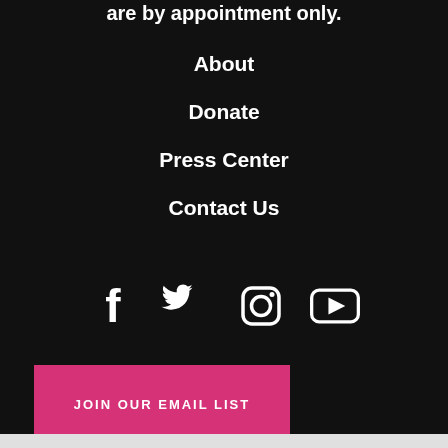are by appointment only.
About
Donate
Press Center
Contact Us
[Figure (infographic): Social media icons: Facebook, Twitter, Instagram, YouTube]
JOIN OUR EMAIL LIST